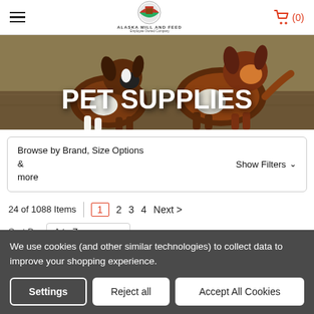Alaska Mill and Feed — Employee Owned Company
[Figure (photo): Two border collie / Australian shepherd dogs standing in a field of dry grass, with bold white text 'PET SUPPLIES' overlaid in the center.]
Browse by Brand, Size Options & more    Show Filters
24 of 1088 Items   1   2   3   4   Next >
Sort By:   A to Z
We use cookies (and other similar technologies) to collect data to improve your shopping experience.
Settings   Reject all   Accept All Cookies